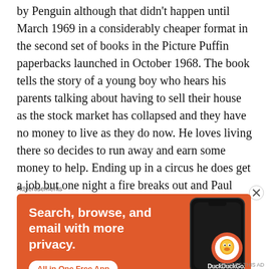by Penguin although that didn't happen until March 1969 in a considerably cheaper format in the second set of books in the Picture Puffin paperbacks launched in October 1968. The book tells the story of a young boy who hears his parents talking about having to sell their house as the stock market has collapsed and they have no money to live as they do now. He loves living there so decides to run away and earn some money to help. Ending up in a circus he does get a job but one night a fire breaks out and Paul sees some panicking children which he gathers together to lead to safety, on the way
Advertisements
[Figure (infographic): DuckDuckGo advertisement banner with orange background. Text reads: 'Search, browse, and email with more privacy. All in One Free App'. Shows a smartphone mockup and DuckDuckGo logo.]